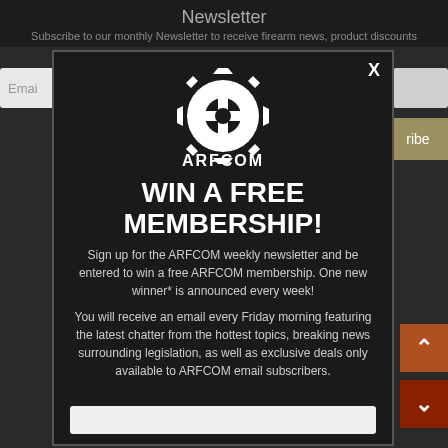Newsletter
Subscribe to our monthly Newsletter to receive firearm news, product discounts
[Figure (screenshot): ARFCOM modal popup with gear logo and newsletter signup]
WIN A FREE MEMBERSHIP!
Sign up for the ARFCOM weekly newsletter and be entered to win a free ARFCOM membership. One new winner* is announced every week!
You will receive an email every Friday morning featuring the latest chatter from the hottest topics, breaking news surrounding legislation, as well as exclusive deals only available to ARFCOM email subscribers.